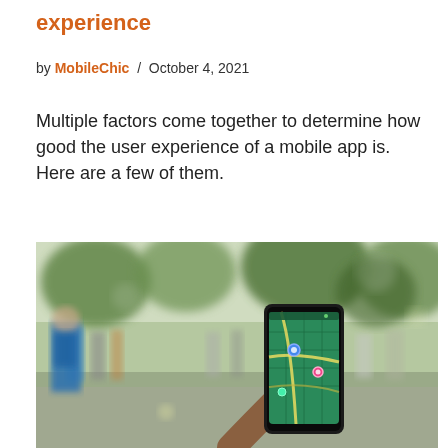experience
by MobileChic / October 4, 2021
Multiple factors come together to determine how good the user experience of a mobile app is. Here are a few of them.
[Figure (photo): Person holding a smartphone displaying a map/game app (Pokemon Go style) outdoors in a park with blurred crowd in background]